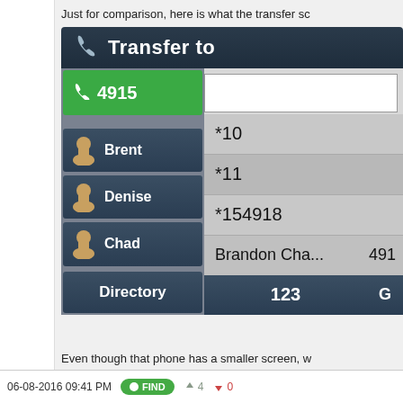Just for comparison, here is what the transfer sc
[Figure (screenshot): Phone UI showing 'Transfer to' screen with contacts Brent, Denise, Chad and a dropdown list showing *10, *11, *154918, Brandon Cha... 491, with Directory and 123 buttons at bottom.]
Even though that phone has a smaller screen, w hides all of the DSS Keys while on the transfer s on the T48. I am wanting a setting where when y
06-08-2016 09:41 PM    FIND    4    0